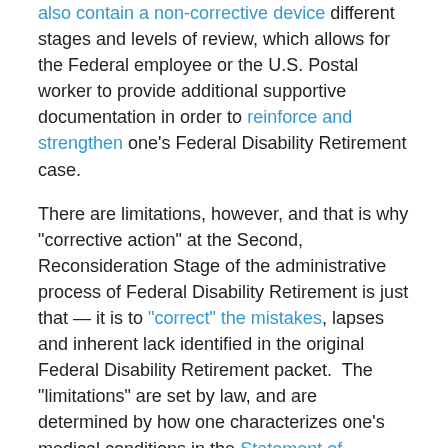also contain a non-corrective device different stages and levels of review, which allows for the Federal employee or the U.S. Postal worker to provide additional supportive documentation in order to reinforce and strengthen one’s Federal Disability Retirement case.
There are limitations, however, and that is why “corrective action” at the Second, Reconsideration Stage of the administrative process of Federal Disability Retirement is just that — it is to “correct” the mistakes, lapses and inherent lack identified in the original Federal Disability Retirement packet.  The “limitations” are set by law, and are determined by how one characterizes one’s medical conditions in the Statement of Disability as perpetuated on SF 3112A.
Care should always be taken, of course, in the initial preparation of a Federal Disability Retirement application